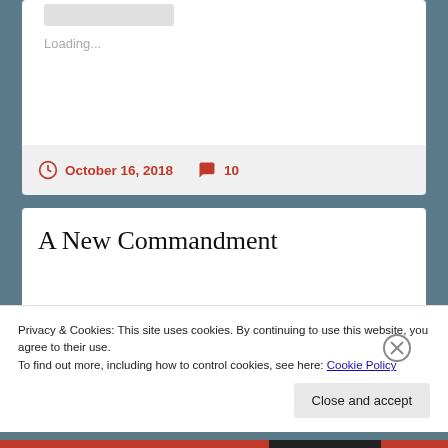Loading...
October 16, 2018   10
A New Commandment
[Figure (photo): Dark stormy sky photograph used as article header image]
Privacy & Cookies: This site uses cookies. By continuing to use this website, you agree to their use.
To find out more, including how to control cookies, see here: Cookie Policy
Close and accept